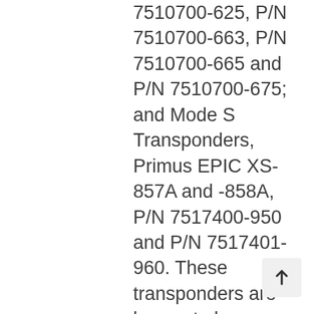7510700-625, P/N 7510700-663, P/N 7510700-665 and P/N 7510700-675; and Mode S Transponders, Primus EPIC XS-857A and -858A, P/N 7517400-950 and P/N 7517401-960. These transponders are known to be installed on, but not limited to, aeroplanes manufactured by Textron Aviation (formerly Cessna), Embraer, Gulfstream